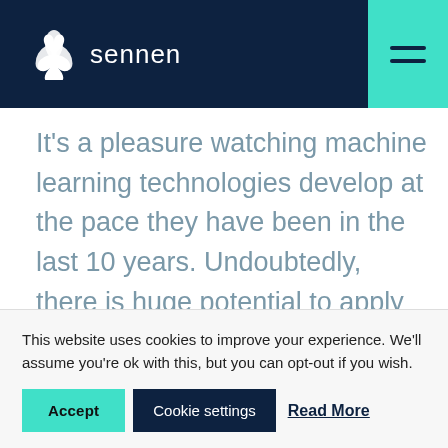sennen
It's a pleasure watching machine learning technologies develop at the pace they have been in the last 10 years. Undoubtedly, there is huge potential to apply those methods to helping us create better offshore work plans, ultimately leading to lower cost of offshore energy.
This revolution will not happen overnight. To begin
This website uses cookies to improve your experience. We'll assume you're ok with this, but you can opt-out if you wish.
Accept | Cookie settings | Read More